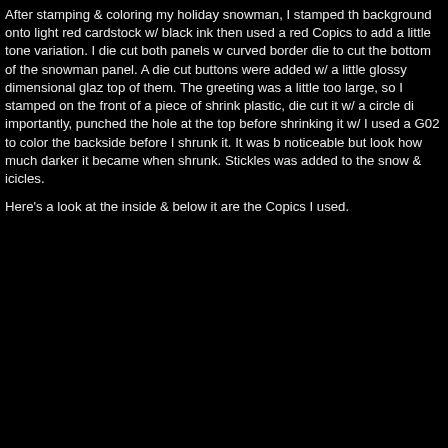After stamping & coloring my holiday snowman, I stamped the background onto light red cardstock w/ black ink then used a red Copics to add a little tone variation. I die cut both panels w/ curved border die to cut the bottom of the snowman panel. A die cut buttons were added w/ a little glossy dimensional glaze on top of them. The greeting was a little too large, so I stamped on the front of a piece of shrink plastic, die cut it w/ a circle di importantly, punched the hole at the top before shrinking it w/ I used a G02 to color the backside before I shrunk it. It was b noticeable but look how much darker it became when shrunk. Stickles was added to the snow & icicles.
Here's a look at the inside & below it are the Copics I used.
[Figure (photo): Photo of the inside of a holiday card showing a greeting stamp that reads 'Merry CHRISTMAS AND A HAPPY New Year' in mixed fonts (script and block lettering) on white/light grey card stock, framed with a dark red border against a black background.]